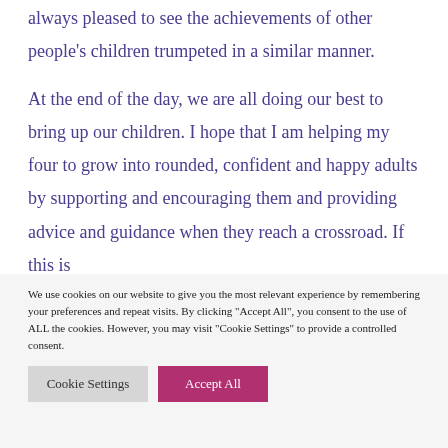always pleased to see the achievements of other people's children trumpeted in a similar manner.
At the end of the day, we are all doing our best to bring up our children. I hope that I am helping my four to grow into rounded, confident and happy adults by supporting and encouraging them and providing advice and guidance when they reach a crossroad. If this is
We use cookies on our website to give you the most relevant experience by remembering your preferences and repeat visits. By clicking "Accept All", you consent to the use of ALL the cookies. However, you may visit "Cookie Settings" to provide a controlled consent.